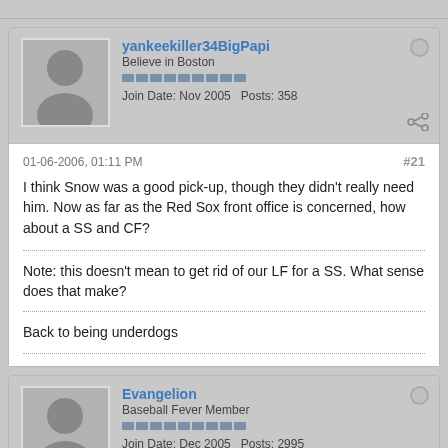yankeekiller34BigPapi — Believe in Boston — Join Date: Nov 2005  Posts: 358
01-06-2006, 01:11 PM  #21
I think Snow was a good pick-up, though they didn't really need him. Now as far as the Red Sox front office is concerned, how about a SS and CF?

Note: this doesn't mean to get rid of our LF for a SS. What sense does that make?
Back to being underdogs
Evangelion — Baseball Fever Member — Join Date: Dec 2005  Posts: 2995